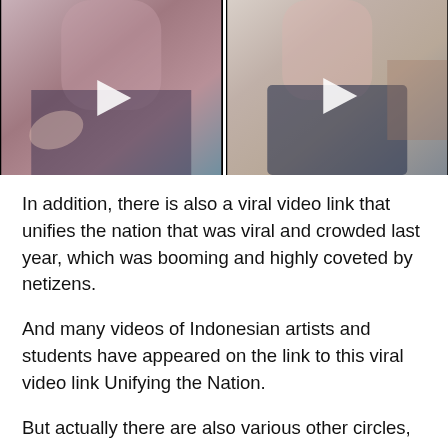[Figure (screenshot): Two side-by-side video thumbnails showing young women dancing, each with a white play button triangle overlay in the center.]
In addition, there is also a viral video link that unifies the nation that was viral and crowded last year, which was booming and highly coveted by netizens.
And many videos of Indonesian artists and students have appeared on the link to this viral video link Unifying the Nation.
But actually there are also various other circles, such as content creators, which are now appearing very frequently.